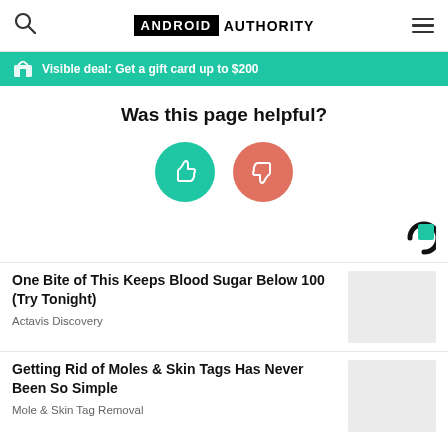ANDROID AUTHORITY
Visible deal: Get a gift card up to $200
Was this page helpful?
[Figure (illustration): Two circular buttons: green thumbs-up and red/salmon thumbs-down]
[Figure (logo): Taboola sponsored content logo (C-shaped arc with green square)]
One Bite of This Keeps Blood Sugar Below 100 (Try Tonight)
Actavis Discovery
Getting Rid of Moles & Skin Tags Has Never Been So Simple
Mole & Skin Tag Removal